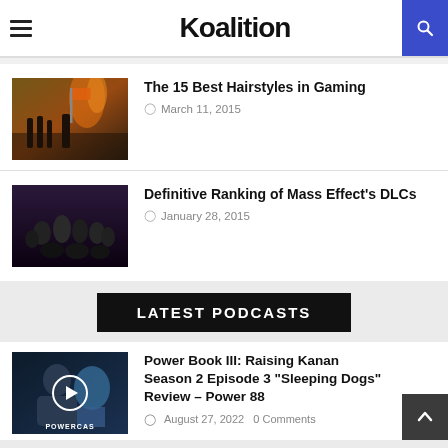Koalition
The 15 Best Hairstyles in Gaming
March 11, 2015
Definitive Ranking of Mass Effect's DLCs
January 28, 2015
LATEST PODCASTS
Power Book III: Raising Kanan Season 2 Episode 3 “Sleeping Dogs” Review – Power 88
August 27, 2022  0 Comments